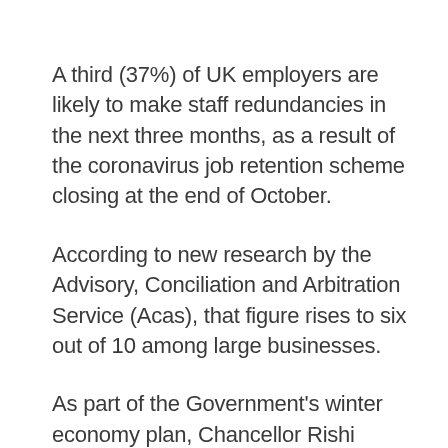A third (37%) of UK employers are likely to make staff redundancies in the next three months, as a result of the coronavirus job retention scheme closing at the end of October.
According to new research by the Advisory, Conciliation and Arbitration Service (Acas), that figure rises to six out of 10 among large businesses.
As part of the Government's winter economy plan, Chancellor Rishi Sunak